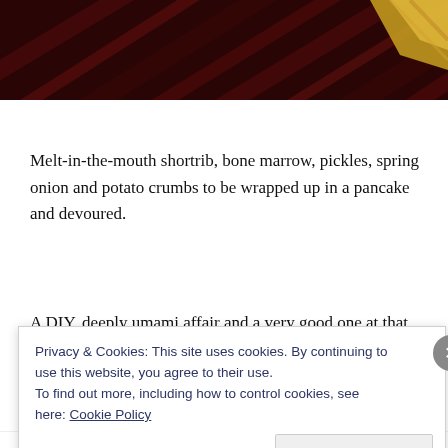[Figure (photo): Dark reddish-brown wooden surface with diagonal grain lines, and a partial view of a colorful dish in the top-right corner.]
Melt-in-the-mouth shortrib, bone marrow, pickles, spring onion and potato crumbs to be wrapped up in a pancake and devoured.
A DIY, deeply umami affair and a very good one at that.
Privacy & Cookies: This site uses cookies. By continuing to use this website, you agree to their use.
To find out more, including how to control cookies, see here: Cookie Policy
Close and accept